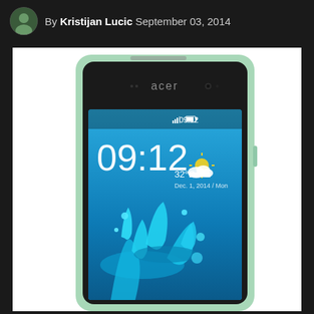By Kristijan Lucic  September 03, 2014
[Figure (photo): Acer smartphone in mint/light green color shown from the front, displaying a lock screen with time 09:12, temperature 32°C, date Dec. 1, 2014 / Mon, and a weather icon showing partly cloudy with sun. The wallpaper shows a water splash. The Acer logo is visible on the top bezel of the device.]